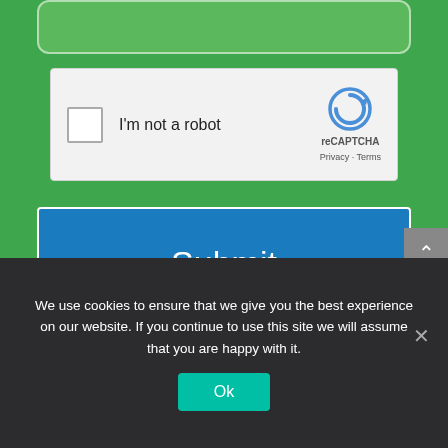[Figure (screenshot): reCAPTCHA widget with checkbox labeled 'I'm not a robot' and reCAPTCHA branding logo on a light gray background]
[Figure (screenshot): Blue Submit button with white text on a green background]
We use cookies to ensure that we give you the best experience on our website. If you continue to use this site we will assume that you are happy with it.
[Figure (screenshot): Ok button (teal/green) for cookie consent]